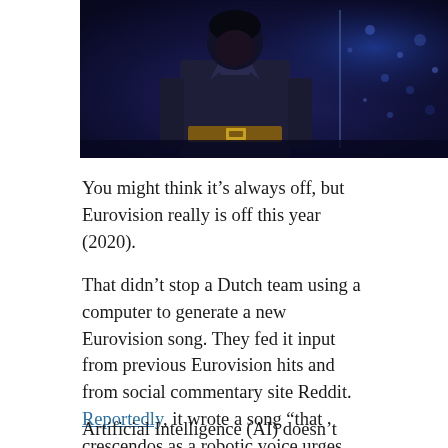[Figure (photo): A performer on stage at Eurovision, dark blue stage lighting with bokeh light dots in the background, belt and jacket visible from waist up.]
You might think it’s always off, but Eurovision really is off this year (2020).
That didn’t stop a Dutch team using a computer to generate a new Eurovision song. They fed it input from previous Eurovision hits and from social commentary site Reddit. Reportedly, it wrote a song “that crescendos as a robotic voice urges listeners to ‘kill the government, kill the system.’”
Artificial Intelligence (AI) doesn’t create those ideas. It reflects what people say. There must